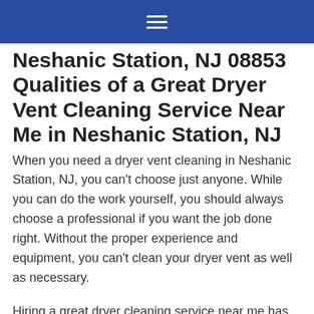≡
Neshanic Station, NJ 08853 Qualities of a Great Dryer Vent Cleaning Service Near Me in Neshanic Station, NJ
When you need a dryer vent cleaning in Neshanic Station, NJ, you can't choose just anyone. While you can do the work yourself, you should always choose a professional if you want the job done right. Without the proper experience and equipment, you can't clean your dryer vent as well as necessary.
Hiring a great dryer cleaning service near me has many benefits, from reducing fire risks to removing allergens. However, how do you find the best dryer vent cleaning company